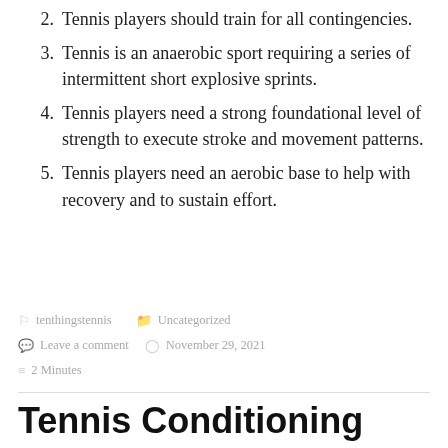2. Tennis players should train for all contingencies.
3. Tennis is an anaerobic sport requiring a series of intermittent short explosive sprints.
4. Tennis players need a strong foundational level of strength to execute stroke and movement patterns.
5. Tennis players need an aerobic base to help with recovery and to sustain effort.
tenthingstennis  Uncategorized  Leave a comment  November 29, 2021  2 Minutes
Tennis Conditioning (Part 1)